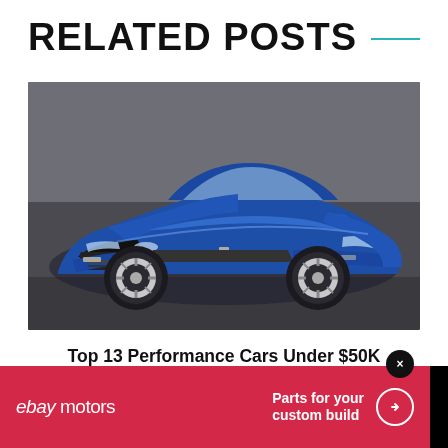RELATED POSTS
[Figure (photo): Blue Chevrolet Camaro sports car photographed from front-three-quarter angle in a parking structure, glossy blue paint with chrome wheels, dark background]
Top 13 Performance Cars Under $50K
[Figure (infographic): eBay Motors advertisement banner: red background with eBay Motors logo on left and 'Parts for your custom build' text with arrow circle button on right, close button (x) at top right]